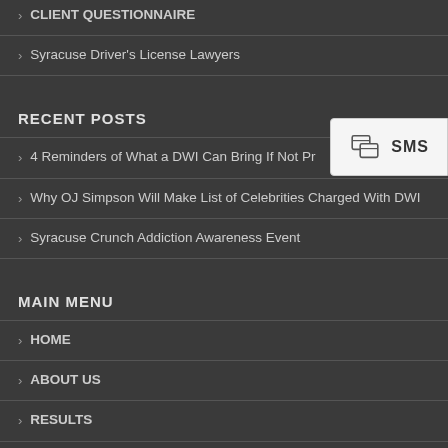CLIENT QUESTIONNAIRE
Syracuse Driver's License Lawyers
RECENT POSTS
4 Reminders of What a DWI Can Bring If Not Properly Defended
Why OJ Simpson Will Make List of Celebrities Charged With DWI
Syracuse Crunch Addiction Awareness Event
MAIN MENU
HOME
ABOUT US
RESULTS
TESTIMONIALS
BLOG